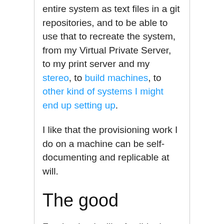entire system as text files in a git repositories, and to be able to use that to recreate the system, from my Virtual Private Server, to my print server and my stereo, to build machines, to other kind of systems I might end up setting up.
I like that the provisioning work I do on a machine can be self-documenting and replicable at will.
The good
For that I quite like Ansible, in principle: simple (in theory) YAML files describe a system in (reasonably) high level steps, and